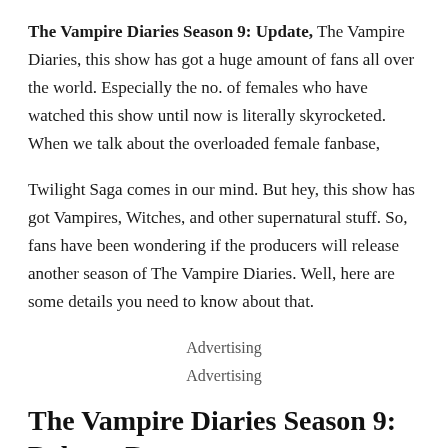The Vampire Diaries Season 9: Update, The Vampire Diaries, this show has got a huge amount of fans all over the world. Especially the no. of females who have watched this show until now is literally skyrocketed. When we talk about the overloaded female fanbase,
Twilight Saga comes in our mind. But hey, this show has got Vampires, Witches, and other supernatural stuff. So, fans have been wondering if the producers will release another season of The Vampire Diaries. Well, here are some details you need to know about that.
Advertising
Advertising
The Vampire Diaries Season 9: Release Date